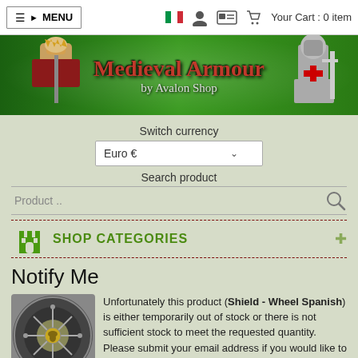≡ ▶ MENU | [flag] [user] [card] [cart] Your Cart : 0 item
[Figure (screenshot): Medieval Armour by Avalon Shop green banner with medieval king and knights illustrations]
Switch currency
Euro €
Search product
Product ..
SHOP CATEGORIES
Notify Me
Unfortunately this product (Shield - Wheel Spanish) is either temporarily out of stock or there is not sufficient stock to meet the requested quantity. Please submit your email address if you would like to be notified when new stock arrives for